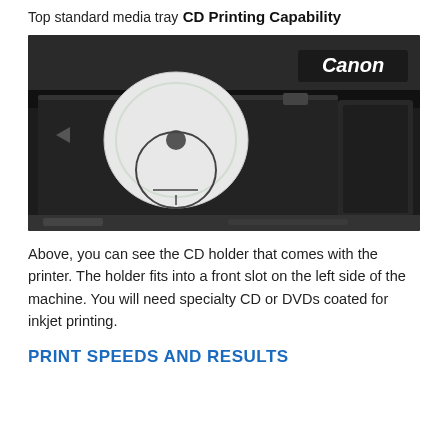Top standard media tray
CD Printing Capability
[Figure (photo): Close-up photo of a Canon printer with a CD/DVD holder tray inserted into the front slot on the left side of the machine. A white disc is visible on the dark plastic tray.]
Above, you can see the CD holder that comes with the printer. The holder fits into a front slot on the left side of the machine. You will need specialty CD or DVDs coated for inkjet printing.
PRINT SPEEDS AND RESULTS